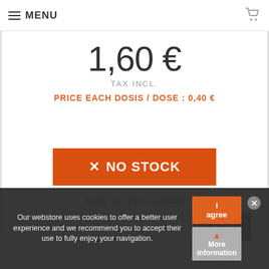MENU
1,60 €
TAX INCL.
PRICE EACH DOSIS / DOSE : 0,40 €
[Figure (other): No Stock button — orange rectangle with × NO STOCK text in white]
Notify me when available
your@email.com
SEND
Our webstore uses cookies to offer a better user experience and we recommend you to accept their use to fully enjoy your navigation.